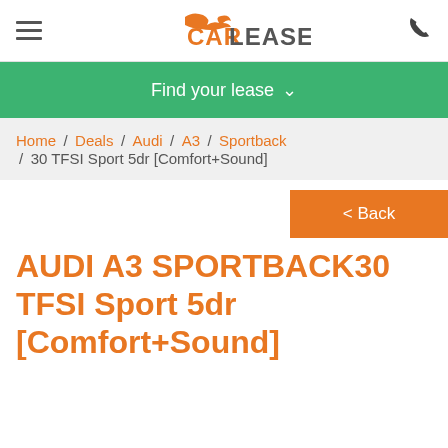CARLEASE (logo with hamburger menu and phone icon)
Find your lease ∨
Home / Deals / Audi / A3 / Sportback / 30 TFSI Sport 5dr [Comfort+Sound]
< Back
AUDI A3 SPORTBACK30 TFSI Sport 5dr [Comfort+Sound]